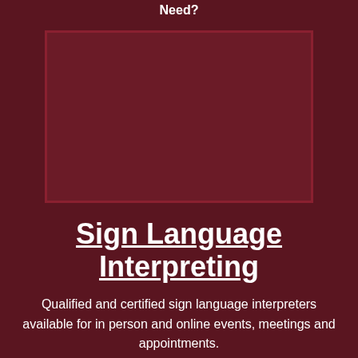Need?
[Figure (photo): Image placeholder area on dark maroon background]
Sign Language Interpreting
Qualified and certified sign language interpreters available for in person and online events, meetings and appointments.